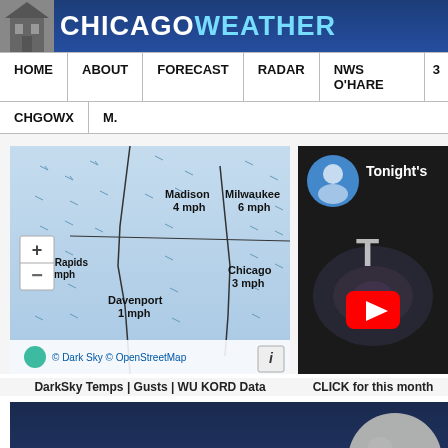CHICAGO WEATHER
HOME | ABOUT | FORECAST | RADAR | NWS O'HARE | 3... | CHGOWX | M.
[Figure (map): Wind map showing Madison 4 mph, Milwaukee 6 mph, Chicago 3 mph, Davenport 1 mph, Cedar Rapids mph. Map shows animated wind arrows over Midwest. Attribution: © Dark Sky © OpenStreetMap]
DarkSky Temps | Gusts | WU KORD Data
[Figure (screenshot): YouTube video thumbnail preview labeled Tonight's with YouTube play button icon and circular profile image]
CLICK for this month
[Figure (infographic): Dark blue panel showing Chicago, IL with moon graphic on right side]